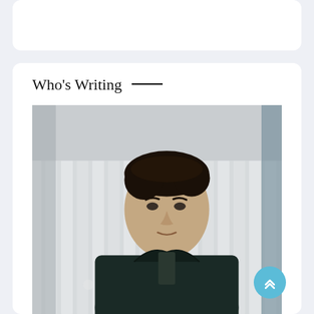[Figure (other): Top white card UI element, partially visible]
Who's Writing —
[Figure (photo): Portrait photograph of a young man with dark hair, wearing a dark jacket, standing in front of a white picket fence. He is looking slightly to the side with a neutral expression.]